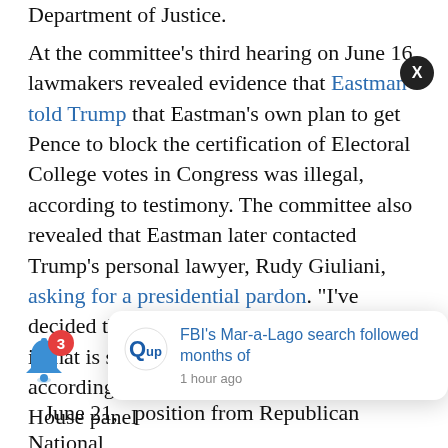Department of Justice.
At the committee's third hearing on June 16, lawmakers revealed evidence that Eastman told Trump that Eastman's own plan to get Pence to block the certification of Electoral College votes in Congress was illegal, according to testimony. The committee also revealed that Eastman later contacted Trump's personal lawyer, Rudy Giuliani, asking for a presidential pardon. “I’ve decided that I should be on the pardon list, if that is still in the works,” he wrote, according to an email obtained by the House panel
June 21, ...position from Republican National
[Figure (other): Updatem notification card showing 'FBI's Mar-a-Lago search followed months of' with timestamp '1 hour ago', with close button X. Bell icon with badge count 3.]